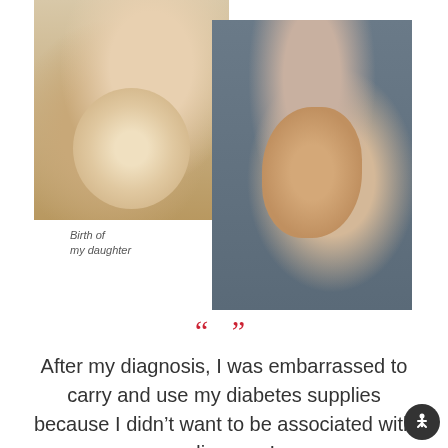[Figure (photo): Two overlapping photos: left photo shows a woman in a hospital bed holding a newborn baby; right photo shows a pregnant woman in a white crop top and jeans posing sideways showing her baby bump]
Birth of my daughter
After my diagnosis, I was embarrassed to carry and use my diabetes supplies because I didn't want to be associated with a disease. I